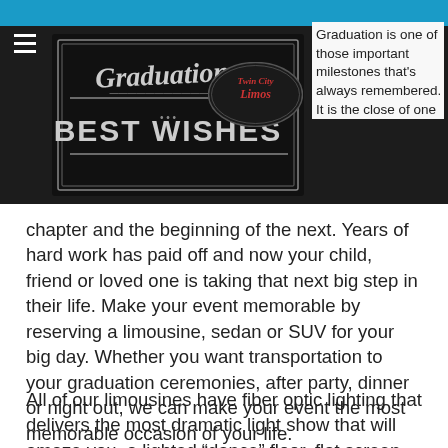[Figure (photo): Dark sign reading 'Graduations... BEST WISHES' with decorative border, and a Twin City Limos oval logo overlay]
Graduation is one of those important milestones that's always remembered. It is the close of one chapter and the beginning of the next. Years of hard work has paid off and now your child, friend or loved one is taking that next big step in their life. Make your event memorable by reserving a limousine, sedan or SUV for your big day. Whether you want transportation to your graduation ceremonies, after party, dinner or night out, we can make your event the most memorable occasion of your life.
All of our limousines have fiber optic lighting that delivers the most dramatic light show that will amaze you, a lighted “dance” floor, flat screen TV’s, state of the art touch screen panels and Smart Phone capabilities. We also have Cadillac sedans and Escalades to accommodate your group. We